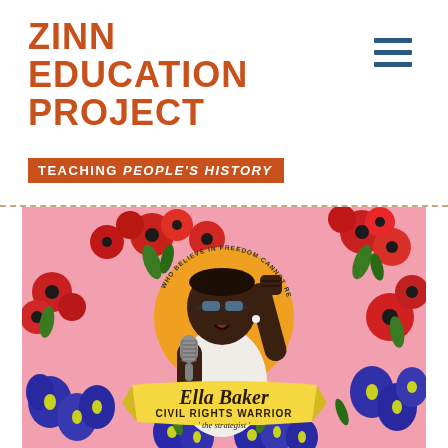ZINN EDUCATION PROJECT
TEACHING PEOPLE'S HISTORY
[Figure (illustration): Colorful illustrated artwork of Ella Baker, a Black civil rights activist, speaking into a microphone and raising her fist, surrounded by red poppies and blue flowers on a pink background. A yellow banner reads 'Ella Baker CIVIL RIGHTS WARRIOR The Strategist'. An arc of text around her head reads 'WHO BELIEVE IN FREEDOM CANNOT REST UNTIL IT COMES'.]